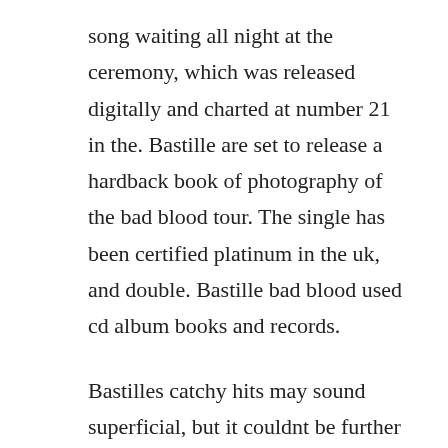song waiting all night at the ceremony, which was released digitally and charted at number 21 in the. Bastille are set to release a hardback book of photography of the bad blood tour. The single has been certified platinum in the uk, and double. Bastille bad blood used cd album books and records.
Bastilles catchy hits may sound superficial, but it couldnt be further from the truth. To date the album has clocked up nearly a quarter of a million sales in the uk alone, becoming the biggest selling. Bastille bad blood from